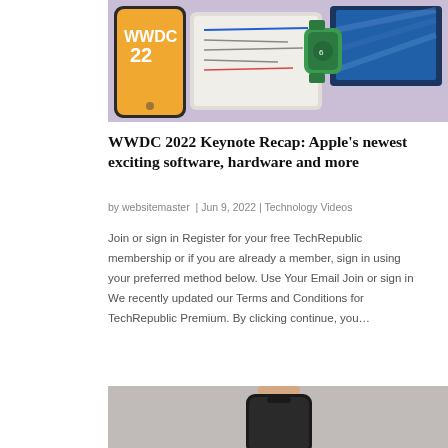[Figure (photo): WWDC 22 promotional image showing an iPhone with WWDC 22 logo on a golden background, an iPad with handwritten notes, an Apple Watch in green, and a MacBook with blue wallpaper, all on a purple surface]
WWDC 2022 Keynote Recap: Apple’s newest exciting software, hardware and more
by websitemaster  |  Jun 9, 2022  |  Technology Videos
Join or sign in Register for your free TechRepublic membership or if you are already a member, sign in using your preferred method below. Use Your Email Join or sign in We recently updated our Terms and Conditions for TechRepublic Premium. By clicking continue, you…
[Figure (photo): A hand holding a smartphone, partially cropped at the bottom of the page]